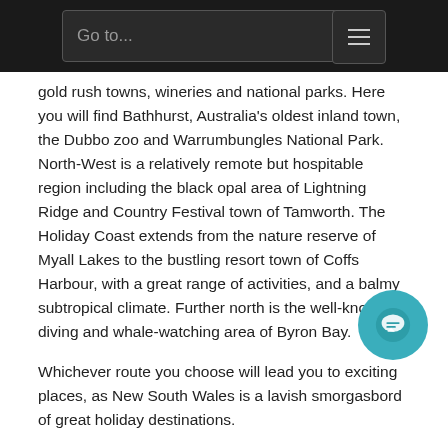Go to...
gold rush towns, wineries and national parks. Here you will find Bathhurst, Australia's oldest inland town, the Dubbo zoo and Warrumbungles National Park. North-West is a relatively remote but hospitable region including the black opal area of Lightning Ridge and Country Festival town of Tamworth. The Holiday Coast extends from the nature reserve of Myall Lakes to the bustling resort town of Coffs Harbour, with a great range of activities, and a balmy subtropical climate. Further north is the well-known diving and whale-watching area of Byron Bay.
Whichever route you choose will lead you to exciting places, as New South Wales is a lavish smorgasbord of great holiday destinations.
By DANNY : DE HEK | November 19th, 2020 | Categories: Australia | Tags: Aborigines, ACT, Adelaide, Ayers Rock, Blue Mountains, Brisbane, Cairns, Gold Coast, Great Barrier Reef, Harbour Bridge, Melbourne, New South Wales, Northern Territory, Opera